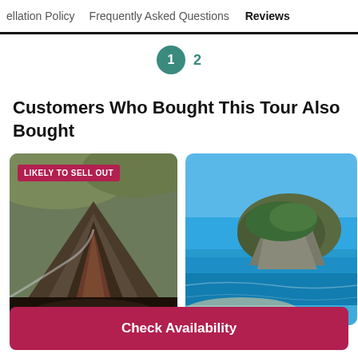ellation Policy   Frequently Asked Questions   Reviews
1   2
Customers Who Bought This Tour Also Bought
[Figure (photo): Aerial view of a volcanic landscape with dark lava fields and craters, with a badge reading LIKELY TO SELL OUT]
[Figure (photo): Aerial view of a rocky coastal island with blue water and a beach]
Check Availability